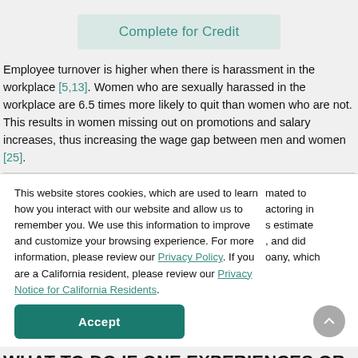Complete for Credit
Employee turnover is higher when there is harassment in the workplace [5,13]. Women who are sexually harassed in the workplace are 6.5 times more likely to quit than women who are not. This results in women missing out on promotions and salary increases, thus increasing the wage gap between men and women [25].
This website stores cookies, which are used to learn how you interact with our website and allow us to remember you. We use this information to improve and customize your browsing experience. For more information, please review our Privacy Policy. If you are a California resident, please review our Privacy Notice for California Residents.
mated to actoring in s estimate , and did oany, which
Accept
WHAT TO DO IF ONE EXPERIENCES OR